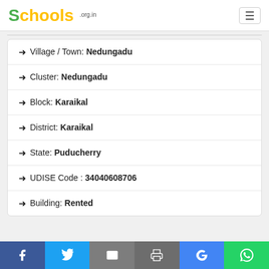Schools.org.in
Village / Town: Nedungadu
Cluster: Nedungadu
Block: Karaikal
District: Karaikal
State: Puducherry
UDISE Code : 34040608706
Building: Rented